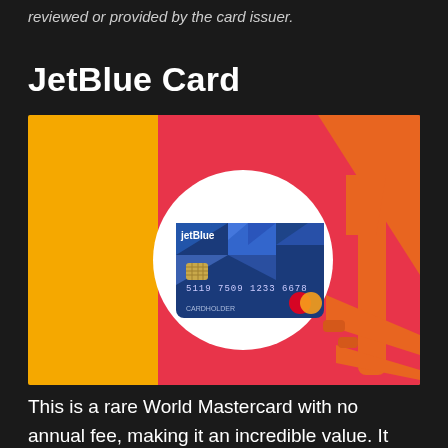reviewed or provided by the card issuer.
JetBlue Card
[Figure (photo): Photo of a JetBlue Mastercard credit card with blue geometric pattern design, placed on a white circular background against a colorful backdrop of yellow, red/pink, and orange sections, with an orange toy airplane on the right side.]
This is a rare World Mastercard with no annual fee, making it an incredible value. It gives you 3x points on JetBlue purchases, plus 2x points on restaurants and grocery